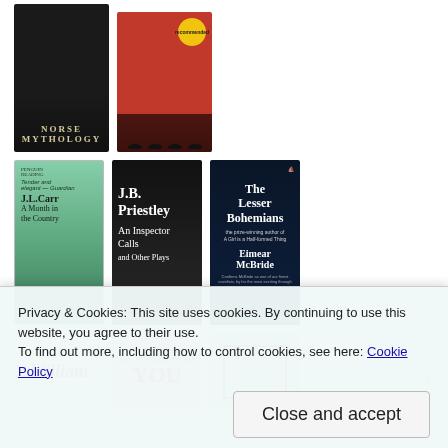[Figure (photo): Grid of book covers: Row 1: Norse Mythology (dark cover), and a red cover book (Catcher in the Rye style). Row 2: J.L. Carr A Month in the Country, J.B. Priestley An Inspector Calls and Other Plays, The Lesser Bohemians by Eimear McBride. Row 3 (partially visible): William (red text), YOU cover, and a third book cover.]
Privacy & Cookies: This site uses cookies. By continuing to use this website, you agree to their use. To find out more, including how to control cookies, see here: Cookie Policy
Close and accept